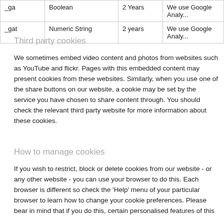|  | Type | Duration | Description |
| --- | --- | --- | --- |
| _ga | Boolean | 2 years | We use Google Analy... |
| _gat | Numeric String | 2 years | We use Google Analy... |
Third party cookies
We sometimes embed video content and photos from websites such as YouTube and flickr. Pages with this embedded content may present cookies from these websites. Similarly, when you use one of the share buttons on our website, a cookie may be set by the service you have chosen to share content through. You should check the relevant third party website for more information about these cookies.
How to manage cookies
If you wish to restrict, block or delete cookies from our website - or any other website - you can use your browser to do this. Each browser is different so check the 'Help' menu of your particular browser to learn how to change your cookie preferences. Please bear in mind that if you do this, certain personalised features of this